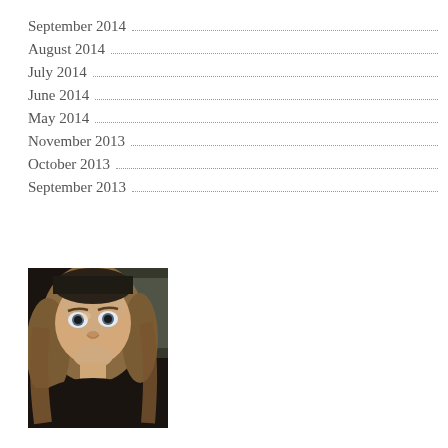September 2014
August 2014
July 2014
June 2014
May 2014
November 2013
October 2013
September 2013
[Figure (photo): Selfie photo of a woman with long wavy blonde/brown hair, wide eyes, and a slight smile, wearing a dark jacket, photographed inside a vehicle]